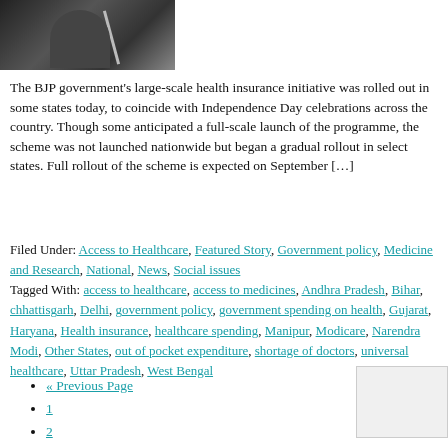[Figure (photo): A person at a podium with a microphone, dark background, appears to be a government official speaking at an event.]
The BJP government's large-scale health insurance initiative was rolled out in some states today, to coincide with Independence Day celebrations across the country. Though some anticipated a full-scale launch of the programme, the scheme was not launched nationwide but began a gradual rollout in select states. Full rollout of the scheme is expected on September […]
Filed Under: Access to Healthcare, Featured Story, Government policy, Medicine and Research, National, News, Social issues Tagged With: access to healthcare, access to medicines, Andhra Pradesh, Bihar, chhattisgarh, Delhi, government policy, government spending on health, Gujarat, Haryana, Health insurance, healthcare spending, Manipur, Modicare, Narendra Modi, Other States, out of pocket expenditure, shortage of doctors, universal healthcare, Uttar Pradesh, West Bengal
« Previous Page
1
2
3
Next Page »